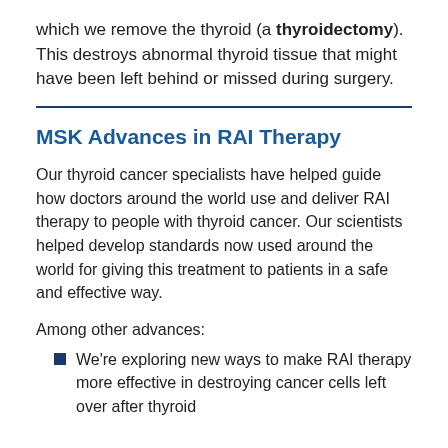which we remove the thyroid (a thyroidectomy). This destroys abnormal thyroid tissue that might have been left behind or missed during surgery.
MSK Advances in RAI Therapy
Our thyroid cancer specialists have helped guide how doctors around the world use and deliver RAI therapy to people with thyroid cancer. Our scientists helped develop standards now used around the world for giving this treatment to patients in a safe and effective way.
Among other advances:
We're exploring new ways to make RAI therapy more effective in destroying cancer cells left over after thyroid